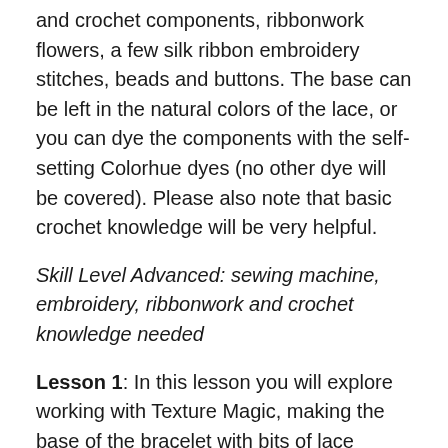and crochet components, ribbonwork flowers, a few silk ribbon embroidery stitches, beads and buttons. The base can be left in the natural colors of the lace, or you can dye the components with the self-setting Colorhue dyes (no other dye will be covered). Please also note that basic crochet knowledge will be very helpful.
Skill Level Advanced: sewing machine, embroidery, ribbonwork and crochet knowledge needed
Lesson 1: In this lesson you will explore working with Texture Magic, making the base of the bracelet with bits of lace enmeshed on the top. The next step is to take the Solvy and small amounts of lace turning them into a lacey trim for the cuff.
Lesson 2. In this lesson you will dye the base, lace frill, any extra lace trims and appliqués along with the perle